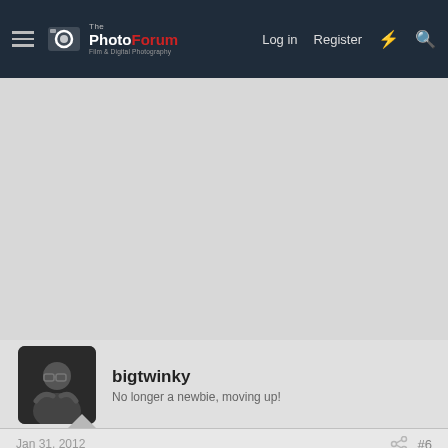[Figure (screenshot): ThePhotoForum website navigation bar with hamburger menu, logo (The PhotoForum - Film & Digital Photography), Log in, Register, lightning bolt icon, and search icon on dark navy background]
[Figure (photo): User avatar photo of bigtwinky - a person with glasses in a dark photo]
bigtwinky
No longer a newbie, moving up!
Jan 31, 2012
#6
I have been testing the new Lightroom 4 (beta was out January